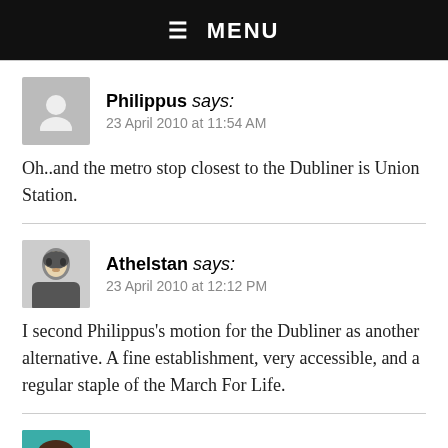☰ MENU
Philippus says:
23 April 2010 at 11:54 AM
Oh..and the metro stop closest to the Dubliner is Union Station.
Athelstan says:
23 April 2010 at 12:12 PM
I second Philippus's motion for the Dubliner as another alternative. A fine establishment, very accessible, and a regular staple of the March For Life.
Tina in Ashburn says: